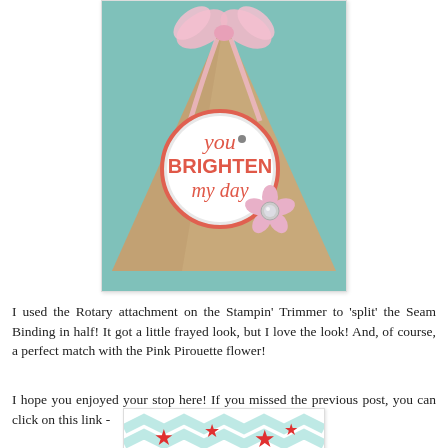[Figure (photo): A kraft paper cone/triangle shaped gift box with a pink ribbon bow at the top, a circular white tag reading 'you BRIGHTEN my day' in red/coral lettering, and a pink flower embellishment with a rhinestone center, on a teal background.]
I used the Rotary attachment on the Stampin' Trimmer to 'split' the Seam Binding in half! It got a little frayed look, but I love the look! And, of course, a perfect match with the Pink Pirouette flower!
I hope you enjoyed your stop here! If you missed the previous post, you can click on this link -
[Figure (photo): Partial view of a craft project image with red stars and teal chevron pattern, partially cropped at page bottom.]